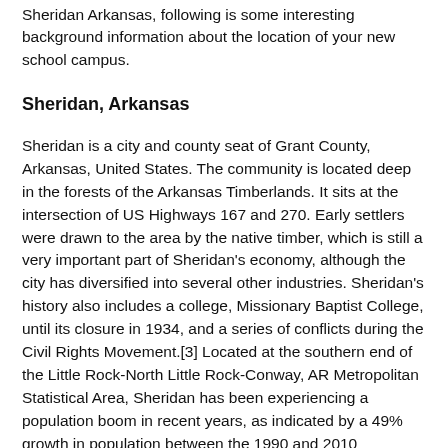Sheridan Arkansas, following is some interesting background information about the location of your new school campus.
Sheridan, Arkansas
Sheridan is a city and county seat of Grant County, Arkansas, United States. The community is located deep in the forests of the Arkansas Timberlands. It sits at the intersection of US Highways 167 and 270. Early settlers were drawn to the area by the native timber, which is still a very important part of Sheridan's economy, although the city has diversified into several other industries. Sheridan's history also includes a college, Missionary Baptist College, until its closure in 1934, and a series of conflicts during the Civil Rights Movement.[3] Located at the southern end of the Little Rock-North Little Rock-Conway, AR Metropolitan Statistical Area, Sheridan has been experiencing a population boom in recent years, as indicated by a 49% growth in population between the 1990 and 2010 censuses.[4] The population as of the 2010 census